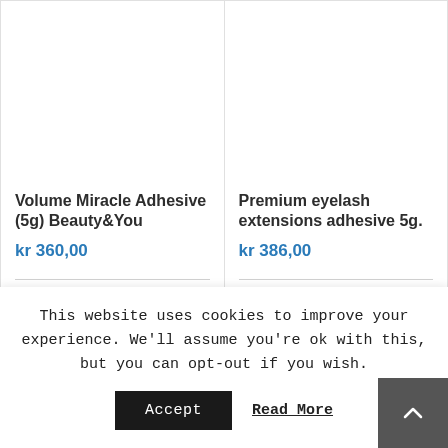Volume Miracle Adhesive (5g) Beauty&You
kr 360,00
Kjøp
Detaljer
Premium eyelash extensions adhesive 5g.
kr 386,00
Detaljer
This website uses cookies to improve your experience. We'll assume you're ok with this, but you can opt-out if you wish.
Accept
Read More